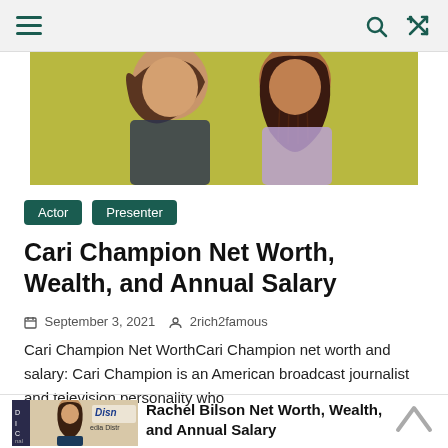Navigation bar with hamburger menu, search icon, and shuffle icon
[Figure (photo): Partial view of two women, one with wavy hair and one with braided hair, against a yellow-green background]
Actor  Presenter
Cari Champion Net Worth, Wealth, and Annual Salary
September 3, 2021  2rich2famous
Cari Champion Net WorthCari Champion net worth and salary: Cari Champion is an American broadcast journalist and television personality who
[Figure (photo): Thumbnail of a woman at what appears to be a Disney media event]
Rachel Bilson Net Worth, Wealth, and Annual Salary